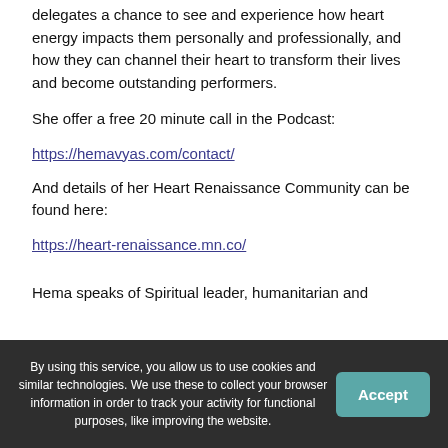delegates a chance to see and experience how heart energy impacts them personally and professionally, and how they can channel their heart to transform their lives and become outstanding performers.
She offer a free 20 minute call in the Podcast:
https://hemavyas.com/contact/
And details of her Heart Renaissance Community can be found here:
https://heart-renaissance.mn.co/
Hema speaks of Spiritual leader, humanitarian and
By using this service, you allow us to use cookies and similar technologies. We use these to collect your browser information in order to track your activity for functional purposes, like improving the website.